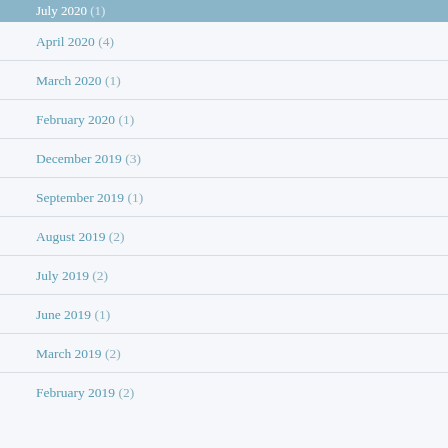July 2020 (1)
April 2020 (4)
March 2020 (1)
February 2020 (1)
December 2019 (3)
September 2019 (1)
August 2019 (2)
July 2019 (2)
June 2019 (1)
March 2019 (2)
February 2019 (2)